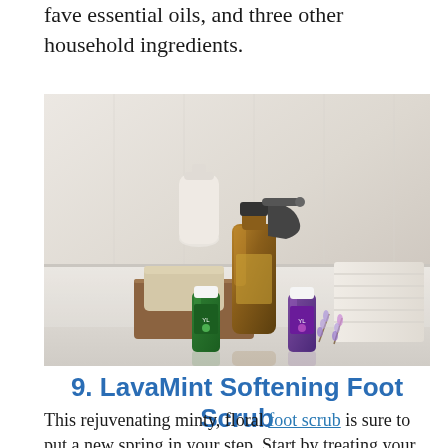fave essential oils, and three other household ingredients.
[Figure (photo): Photo of essential oil products: two small Young Living essential oil bottles (green label and purple label), a large amber glass spray bottle with black trigger sprayer, a bar of soap on a wooden board, folded white towels, and lavender sprigs on a white marble surface.]
9. LavaMint Softening Foot Scrub
This rejuvenating minty, floral foot scrub is sure to put a new spring in your step. Start by treating your feet to a soothing soak in an essential oil-infused foot